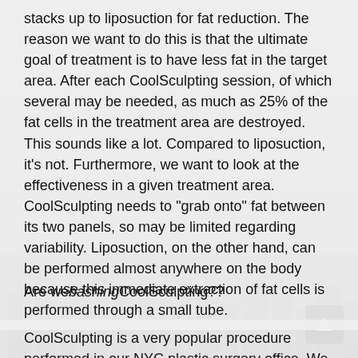stacks up to liposuction for fat reduction. The reason we want to do this is that the ultimate goal of treatment is to have less fat in the target area. After each CoolSculpting session, of which several may be needed, as much as 25% of the fat cells in the treatment area are destroyed. This sounds like a lot. Compared to liposuction, it's not. Furthermore, we want to look at the effectiveness in a given treatment area. CoolSculpting needs to "grab onto" fat between its two panels, so may be limited regarding variability. Liposuction, on the other hand, can be performed almost anywhere on the body because this immediate extraction of fat cells is performed through a small tube.
Are we bashing CoolSculpting??
CoolSculpting is a very popular procedure performed in our NYC plastic surgery office. We wouldn't think of